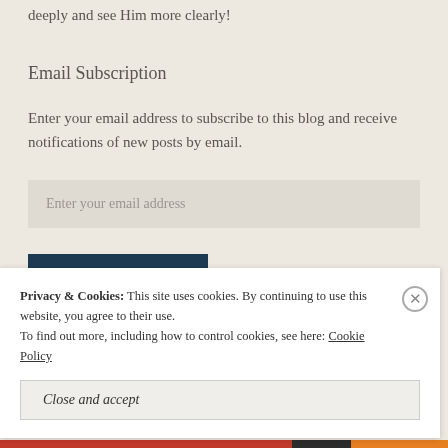deeply and see Him more clearly!
Email Subscription
Enter your email address to subscribe to this blog and receive notifications of new posts by email.
Enter your email address
Sign me up!
Privacy & Cookies: This site uses cookies. By continuing to use this website, you agree to their use.
To find out more, including how to control cookies, see here: Cookie Policy
Close and accept